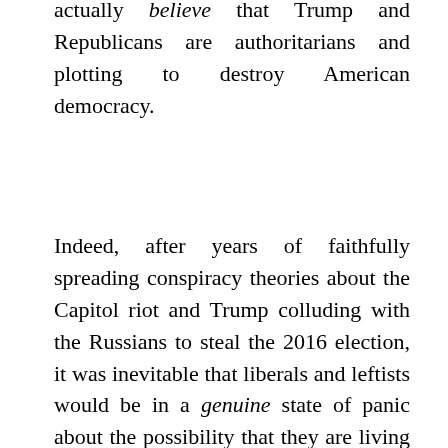actually believe that Trump and Republicans are authoritarians and plotting to destroy American democracy.

Indeed, after years of faithfully spreading conspiracy theories about the Capitol riot and Trump colluding with the Russians to steal the 2016 election, it was inevitable that liberals and leftists would be in a genuine state of panic about the possibility that they are living through the last years of a Weimar Republic-like prelude to Trumpian fascism. They believe that all resistance to Democratic legislation and leftist policies such as critical race theory indoctrination, or even public